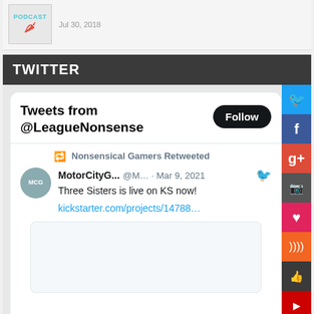[Figure (screenshot): Podcast logo with colorful bird icon and 'PODCAST' text]
Jul 30, 2018
TWITTER
Tweets from @LeagueNonsense
Nonsensical Gamers Retweeted
MotorCityG... @M... · Mar 9, 2021
Three Sisters is live on KS now!
kickstarter.com/projects/14788…
[Figure (screenshot): Blank image placeholder in tweet]